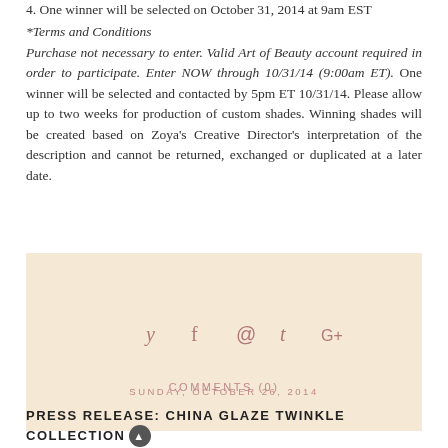4. One winner will be selected on October 31, 2014 at 9am EST
*Terms and Conditions
Purchase not necessary to enter. Valid Art of Beauty account required in order to participate. Enter NOW through 10/31/14 (9:00am ET). One winner will be selected and contacted by 5pm ET 10/31/14. Please allow up to two weeks for production of custom shades. Winning shades will be created based on Zoya's Creative Director's interpretation of the description and cannot be returned, exchanged or duplicated at a later date.
[Figure (infographic): Social share icons bar with beige background containing Twitter, Facebook, Pinterest, Tumblr, and Google+ icons, and a COMMENTS (0) link below]
SUNDAY, OCTOBER 26, 2014
PRESS RELEASE: CHINA GLAZE TWINKLE COLLECTION